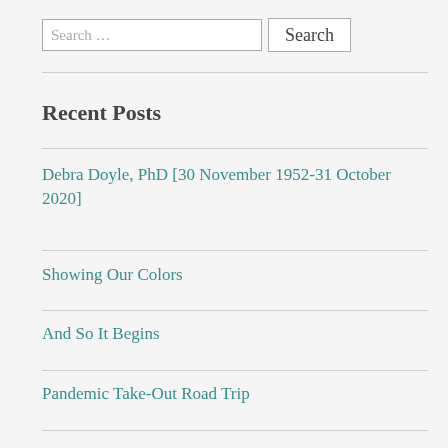Search …
Recent Posts
Debra Doyle, PhD [30 November 1952-31 October 2020]
Showing Our Colors
And So It Begins
Pandemic Take-Out Road Trip
Chew-Toys of the Mind